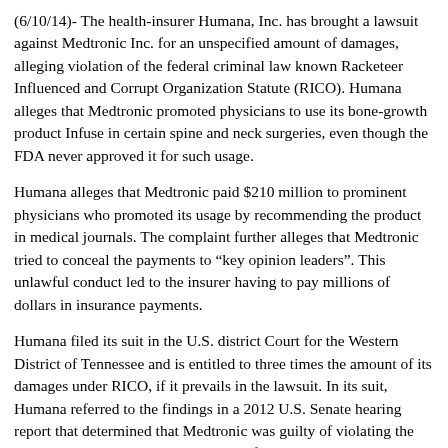(6/10/14)- The health-insurer Humana, Inc. has brought a lawsuit against Medtronic Inc. for an unspecified amount of damages, alleging violation of the federal criminal law known Racketeer Influenced and Corrupt Organization Statute (RICO). Humana alleges that Medtronic promoted physicians to use its bone-growth product Infuse in certain spine and neck surgeries, even though the FDA never approved it for such usage.
Humana alleges that Medtronic paid $210 million to prominent physicians who promoted its usage by recommending the product in medical journals. The complaint further alleges that Medtronic tried to conceal the payments to “key opinion leaders”. This unlawful conduct led to the insurer having to pay millions of dollars in insurance payments.
Humana filed its suit in the U.S. district Court for the Western District of Tennessee and is entitled to three times the amount of its damages under RICO, if it prevails in the lawsuit. In its suit, Humana referred to the findings in a 2012 U.S. Senate hearing report that determined that Medtronic was guilty of violating the law in connection with its marketing of the product.
(12/18/13)-Andrew Witty, GlaxoSmithKline PLC’s chief executive announced that the company will shortly cease to pay doctors to promote its drugs and would also end the practice of paying its...